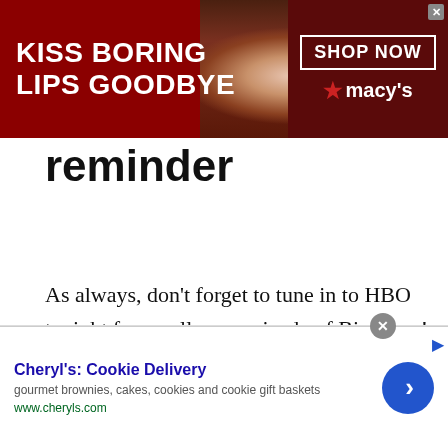[Figure (screenshot): Macy's banner ad: dark red background with woman's face and red lips, text 'KISS BORING LIPS GOODBYE', 'SHOP NOW' button box, star and Macy's logo]
reminder
As always, don’t forget to tune in to HBO tonight for an all-new episode of Big Love! Episode 5.08 “The Noose Tightens” airs tonight at 9 PM. Episode overview from the
[Figure (screenshot): Bottom banner ad for Cheryl's: Cookie Delivery - gourmet brownies, cakes, cookies and cookie gift baskets, www.cheryls.com, blue circle arrow button]